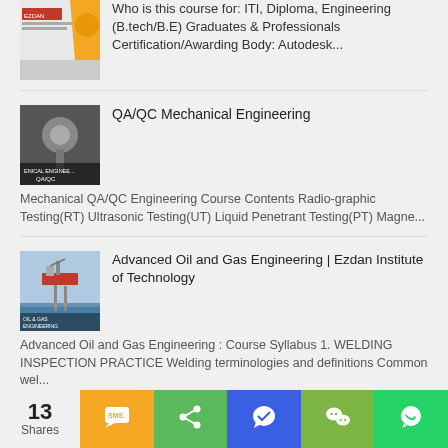[Figure (photo): Partial thumbnail of an Ezdan institute course card at top of page]
Who is this course for: ITI, Diploma, Engineering (B.tech/B.E) Graduates & Professionals Certification/Awarding Body: Autodesk...
[Figure (photo): Black and white photo of a mechanical QA/QC engineering course thumbnail showing bolts/tools with text 'ENICAL ENGINEE... QA/QC']
QA/QC Mechanical Engineering
Mechanical QA/QC Engineering Course Contents Radio-graphic Testing(RT) Ultrasonic Testing(UT) Liquid Penetrant Testing(PT) Magne...
[Figure (photo): Photo of an offshore oil platform at sea, thumbnail for Advanced Oil and Gas Engineering course at Ezdan Institute of Technology]
Advanced Oil and Gas Engineering | Ezdan Institute of Technology
Advanced Oil and Gas Engineering : Course Syllabus 1. WELDING INSPECTION PRACTICE Welding terminologies and definitions Common wel...
13
Shares